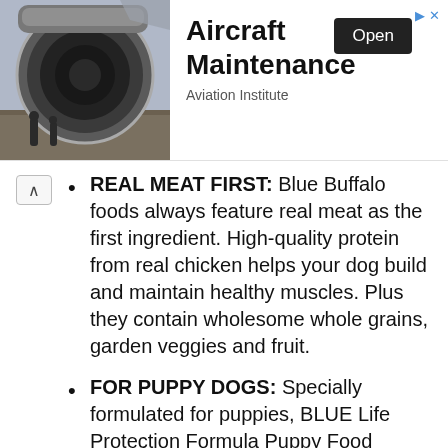[Figure (photo): Advertisement banner showing aircraft jet engines with workers, for Aircraft Maintenance at Aviation Institute. Includes an 'Open' button.]
REAL MEAT FIRST: Blue Buffalo foods always feature real meat as the first ingredient. High-quality protein from real chicken helps your dog build and maintain healthy muscles. Plus they contain wholesome whole grains, garden veggies and fruit.
FOR PUPPY DOGS: Specially formulated for puppies, BLUE Life Protection Formula Puppy Food contains DHA and ARA (important fatty acids found in mother's milk) to support cognitive function and retinal health.
WITH LIFESOURCE BITS: This formula